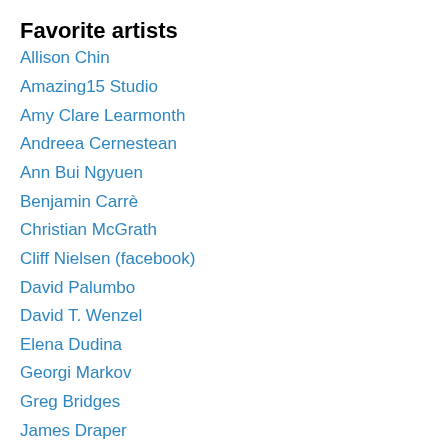Favorite artists
Allison Chin
Amazing15 Studio
Amy Clare Learmonth
Andreea Cernestean
Ann Bui Ngyuen
Benjamin Carrè
Christian McGrath
Cliff Nielsen (facebook)
David Palumbo
David T. Wenzel
Elena Dudina
Georgi Markov
Greg Bridges
James Draper
Josh Kirby
Julie Bell
Keith Parkinson
Larry Elmore